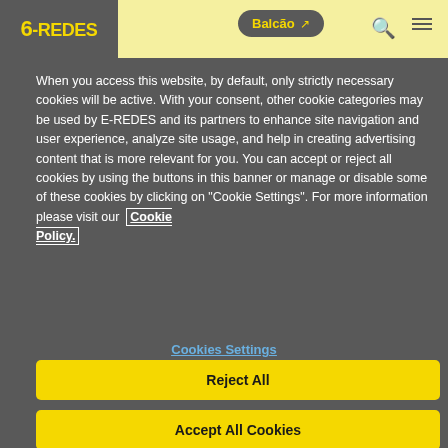E-REDES | Balcão
When you access this website, by default, only strictly necessary cookies will be active. With your consent, other cookie categories may be used by E-REDES and its partners to enhance site navigation and user experience, analyze site usage, and help in creating advertising content that is more relevant for you. You can accept or reject all cookies by using the buttons in this banner or manage or disable some of these cookies by clicking on "Cookie Settings". For more information please visit our Cookie Policy.
Cookies Settings
Reject All
Accept All Cookies